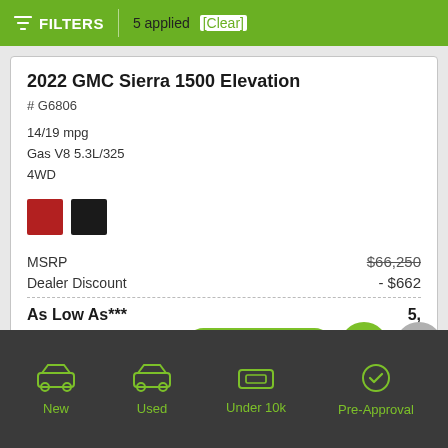FILTERS  5 applied  [Clear]
2022 GMC Sierra 1500 Elevation
# G6806
14/19 mpg
Gas V8 5.3L/325
4WD
[Figure (other): Two color swatches: red and black squares]
|  |  |
| --- | --- |
| MSRP | $66,250 |
| Dealer Discount | - $662 |
| As Low As*** | 5, |
[Figure (other): Overlay buttons: Value Your Trade pill button (green), chat circle button (green), message circle button (gray)]
New  Used  Under 10k  Pre-Approval